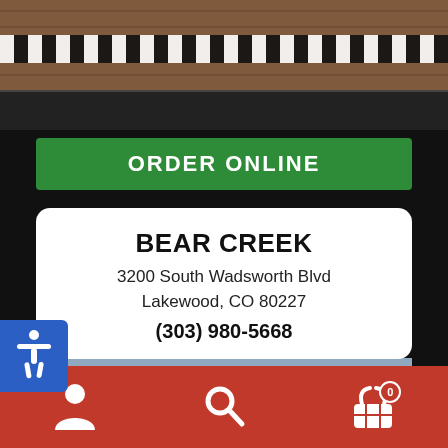[Figure (photo): Top portion of a brick building with checkered black-and-white banner strip and dark windows]
ORDER ONLINE
BEAR CREEK
3200 South Wadsworth Blvd
Lakewood, CO 80227
(303) 980-5668
[Figure (photo): Street-level photo of a strip mall showing Pizza & Pasta and Jewelers storefronts with a red tile roof under a cloudy sky]
[Figure (illustration): Bottom navigation bar with person icon, search icon, and shopping basket icon with badge 0 on red background]